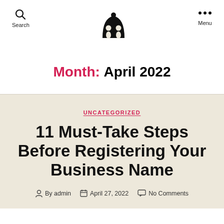Search | [Logo] | Menu
Month: April 2022
UNCATEGORIZED
11 Must-Take Steps Before Registering Your Business Name
By admin | April 27, 2022 | No Comments